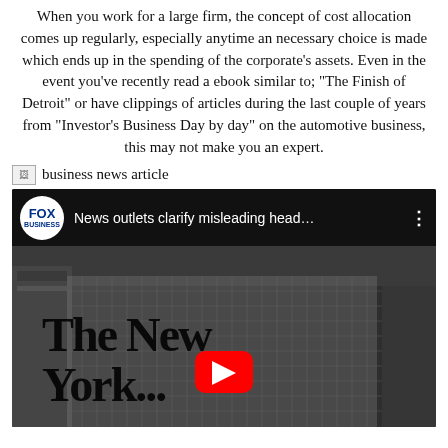When you work for a large firm, the concept of cost allocation comes up regularly, especially anytime an necessary choice is made which ends up in the spending of the corporate's assets. Even in the event you've recently read a ebook similar to; "The Finish of Detroit" or have clippings of articles during the last couple of years from "Investor's Business Day by day" on the automotive business, this may not make you an expert.
[Figure (photo): Broken image placeholder with caption 'business news article']
business news article
[Figure (screenshot): YouTube video thumbnail showing Fox Business logo and title 'News outlets clarify misleading head...' with The New York Times building facade in background and red YouTube play button overlay]